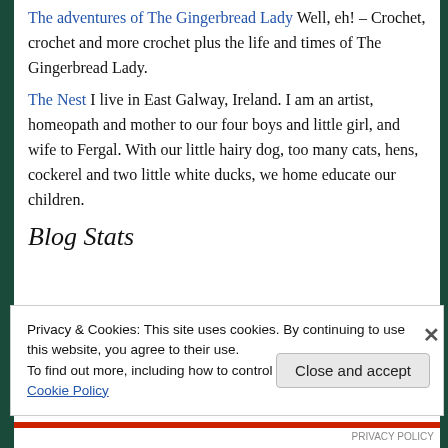The adventures of The Gingerbread Lady Well, eh! – Crochet, crochet and more crochet plus the life and times of The Gingerbread Lady.
The Nest I live in East Galway, Ireland. I am an artist, homeopath and mother to our four boys and little girl, and wife to Fergal. With our little hairy dog, too many cats, hens, cockerel and two little white ducks, we home educate our children.
Blog Stats
Privacy & Cookies: This site uses cookies. By continuing to use this website, you agree to their use. To find out more, including how to control cookies, see here: Cookie Policy
Close and accept